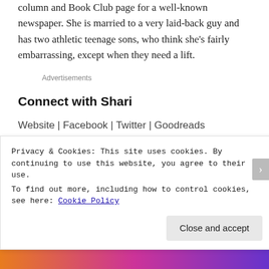column and Book Club page for a well-known newspaper. She is married to a very laid-back guy and has two athletic teenage sons, who think she's fairly embarrassing, except when they need a lift.
Advertisements
Connect with Shari
Website | Facebook | Twitter | Goodreads
Privacy & Cookies: This site uses cookies. By continuing to use this website, you agree to their use.
To find out more, including how to control cookies, see here: Cookie Policy